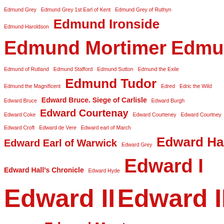Edmund Grey Edmund Grey 1st Earl of Kent Edmund Grey of Ruthyn
Edmund Haroldson Edmund Ironside
Edmund Mortimer Edmund of Langley
Edmund of Rutland Edmund Stafford Edmund Sutton Edmund the Exile
Edmund the Magnificent Edmund Tudor Edred Edric the Wild
Edward Bruce Edward Bruce. Siege of Carlisle Edward Burgh
Edward Coke Edward Courtenay Edward Courteney Edward Courtney
Edward Croft Edward de Vere Edward earl of March
Edward Earl of Warwick Edward Grey Edward Hall
Edward Hall's Chronicle Edward Hyde Edward I
Edward II Edward III Edward IV
Edward Massie Edward Montagu Edward Mortimer
Edward of Anglôume Edward of Carnarvon Edward of Lancaster
Edward of Middleham Edward of Norwich
Edward of Wetminster Edward Powell Edward Seymour
Edward Stafford Edward Sutton Edward the Atheling
Edward the Confessor